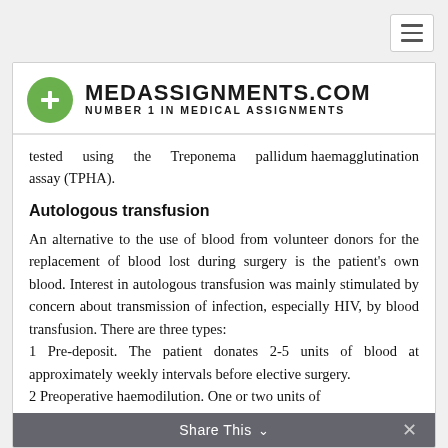[Figure (logo): MedAssignments.com logo with green circle plus sign and text 'MEDASSIGNMENTS.COM / NUMBER 1 IN MEDICAL ASSIGNMENTS']
tested using the Treponema pallidum haemagglutination assay (TPHA).
Autologous transfusion
An alternative to the use of blood from volunteer donors for the replacement of blood lost during surgery is the patient's own blood. Interest in autologous transfusion was mainly stimulated by concern about transmission of infection, especially HIV, by blood transfusion. There are three types:
1 Pre-deposit. The patient donates 2-5 units of blood at approximately weekly intervals before elective surgery.
2 Preoperative haemodilution. One or two units of